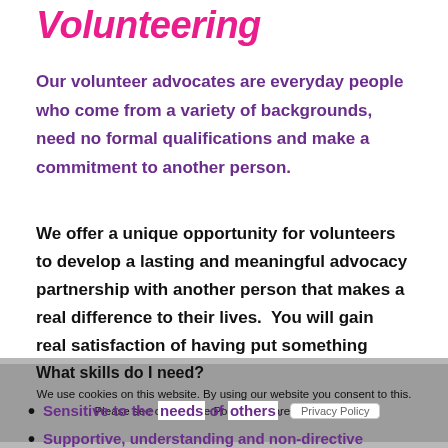Volunteering
Our volunteer advocates are everyday people who come from a variety of backgrounds, need no formal qualifications and make a commitment to another person.
We offer a unique opportunity for volunteers to develop a lasting and meaningful advocacy partnership with another person that makes a real difference to their lives.  You will gain real satisfaction of having put something back into the community.
What skills do I need?
Sensitive to the needs of others.
Supportive, understanding and non-directive